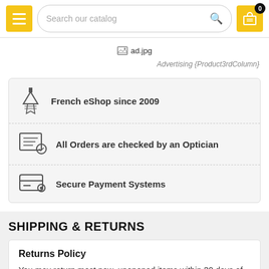Search our catalog
[Figure (other): Broken image placeholder labeled ad.jpg]
Advertising {Product3rdColumn}
French eShop since 2009
All Orders are checked by an Optician
Secure Payment Systems
SHIPPING & RETURNS
Returns Policy
You may return most new, unopened items within 30 days of delivery for a full refund. We'll also pay the return shipping costs if the return